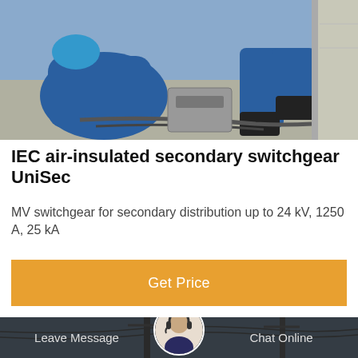[Figure (photo): Two workers in blue uniforms and hard hats working outdoors on electrical switchgear installation]
IEC air-insulated secondary switchgear UniSec
MV switchgear for secondary distribution up to 24 kV, 1250 A, 25 kA
[Figure (other): Orange button labeled Get Price]
[Figure (photo): Outdoor electrical utility poles and power lines scene with a customer service representative avatar and chat bar at bottom showing Leave Message and Chat Online options]